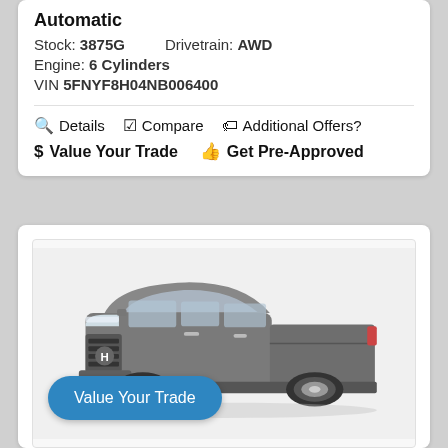Automatic
Stock: 3875G    Drivetrain: AWD
Engine: 6 Cylinders
VIN 5FNYF8H04NB006400
🔍 Details   ☑ Compare   🏷 Additional Offers?
$ Value Your Trade   👍 Get Pre-Approved
[Figure (photo): Photo of a gray Honda Ridgeline pickup truck, three-quarter front view, on a white background]
Value Your Trade